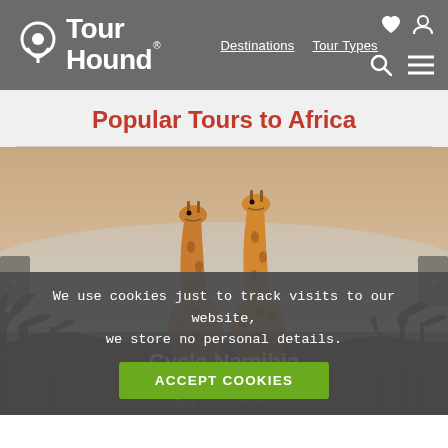TourHound — Destinations | Tour Types | [search] [menu]
Popular Tours to Africa
[Figure (photo): Two giraffes standing close together in an African savanna landscape with sparse trees and a misty/hazy sky background. Tour card overlay shows tour name 'Cycle Namibia' and price '11 Nights from £3599 pp'. Carousel navigation arrows visible on left and right.]
We use cookies just to track visits to our website, we store no personal details.
ACCEPT COOKIES